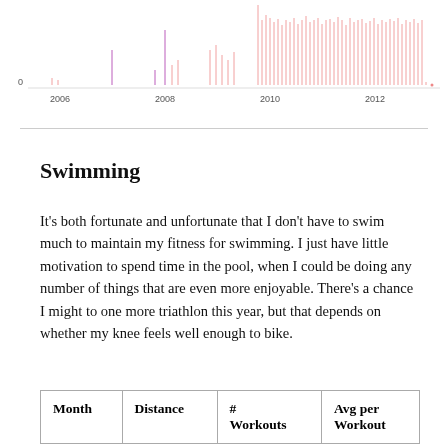[Figure (continuous-plot): A time series chart showing swimming activity from approximately 2006 to 2012. Thin vertical red/pink lines of varying heights represent individual swim workouts. The x-axis shows years 2006, 2008, 2010, 2012. The y-axis starts at 0. Activity is sparse in 2006-2008 and becomes very dense in 2010-2012.]
Swimming
It's both fortunate and unfortunate that I don't have to swim much to maintain my fitness for swimming. I just have little motivation to spend time in the pool, when I could be doing any number of things that are even more enjoyable. There's a chance I might to one more triathlon this year, but that depends on whether my knee feels well enough to bike.
| Month | Distance | # Workouts | Avg per Workout |
| --- | --- | --- | --- |